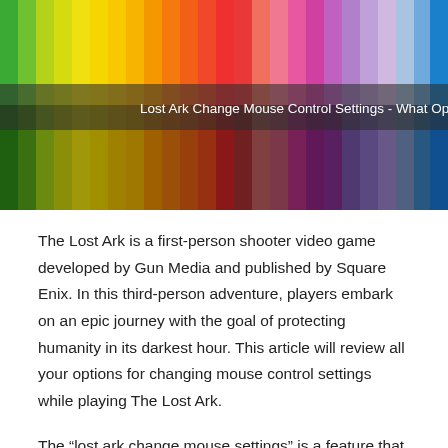[Figure (illustration): A horizontal band of rainbow color stripes transitioning from green on the left through yellow, orange, red, pink, purple, to blue on the right. The top half shows bright vivid colors, the bottom half shows darker shaded versions of the same hues. Overlaid in the middle is a semi-transparent dark banner with white text reading: Lost Ark Change Mouse Control Settings - What Options]
The Lost Ark is a first-person shooter video game developed by Gun Media and published by Square Enix. In this third-person adventure, players embark on an epic journey with the goal of protecting humanity in its darkest hour. This article will review all your options for changing mouse control settings while playing The Lost Ark.
The “lost ark change mouse settings” is a feature that allows